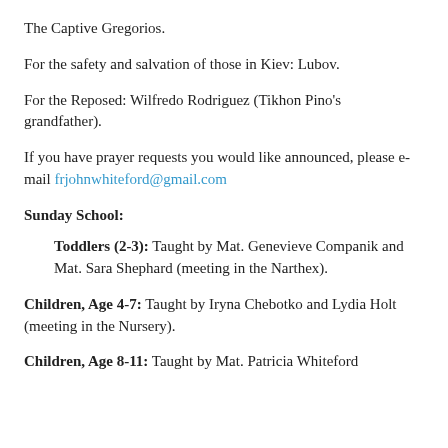The Captive Gregorios.
For the safety and salvation of those in Kiev: Lubov.
For the Reposed: Wilfredo Rodriguez (Tikhon Pino's grandfather).
If you have prayer requests you would like announced, please e-mail frjohnwhiteford@gmail.com
Sunday School:
Toddlers (2-3): Taught by Mat. Genevieve Companik and Mat. Sara Shephard (meeting in the Narthex).
Children, Age 4-7: Taught by Iryna Chebotko and Lydia Holt (meeting in the Nursery).
Children, Age 8-11: Taught by Mat. Patricia Whiteford